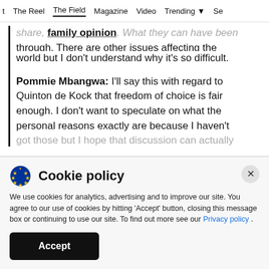t  The Reel  The Field  Magazine  Video  Trending  See
share, family opinion. What they can have been through. There are other issues affecting the world but I don't understand why it's so difficult.
Pommie Mbangwa: I'll say this with regard to Quinton de Kock that freedom of choice is fair enough. I don't want to speculate on what the personal reasons exactly are because I haven't got those but I hope that discussion can actually
Cookie policy
We use cookies for analytics, advertising and to improve our site. You agree to our use of cookies by hitting 'Accept' button, closing this message box or continuing to use our site. To find out more see our Privacy policy .